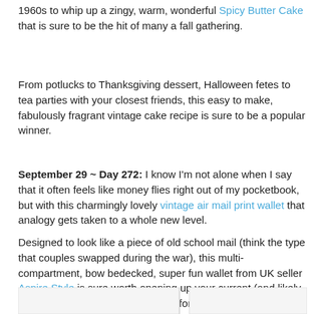1960s to whip up a zingy, warm, wonderful Spicy Butter Cake that is sure to be the hit of many a fall gathering.
From potlucks to Thanksgiving dessert, Halloween fetes to tea parties with your closest friends, this easy to make, fabulously fragrant vintage cake recipe is sure to be a popular winner.
September 29 ~ Day 272: I know I'm not alone when I say that it often feels like money flies right out of my pocketbook, but with this charmingly lovely vintage air mail print wallet that analogy gets taken to a whole new level.
Designed to look like a piece of old school mail (think the type that couples swapped during the war), this multi-compartment, bow bedecked, super fun wallet from UK seller Aspire Style is sure worth opening up your current (and likely considerably less adorable) wallet for!
[Figure (photo): Two side-by-side image placeholders at the bottom of the page]